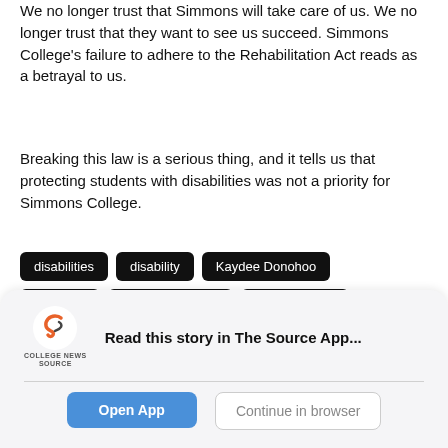We no longer trust that Simmons will take care of us. We no longer trust that they want to see us succeed. Simmons College's failure to adhere to the Rehabilitation Act reads as a betrayal to us.
Breaking this law is a serious thing, and it tells us that protecting students with disabilities was not a priority for Simmons College.
disabilities
disability
Kaydee Donohoo
simmons
simmons college
Simran Gupta
Simran P. Gupta
violate
violation
Read this story in The Source App...
Open App
Continue in browser